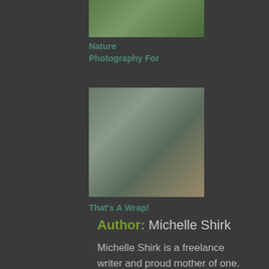[Figure (photo): Thumbnail image of nature photography - green foliage]
Nature Photography For
[Figure (photo): Thumbnail image of wrapped gift with pine cones and raffia decoration]
That's A Wrap!
Author: Michelle Shirk
Michelle Shirk is a freelance writer and proud mother of one. She writes about family, travel